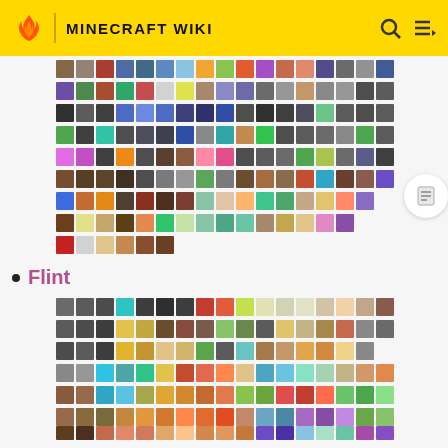MINECRAFT WIKI
[Figure (screenshot): Grid of Minecraft item sprites showing various items including potions, balloons, tools, food, and equipment icons arranged in rows]
Flint
[Figure (screenshot): Grid of Minecraft item sprites for Flint-related crafting and equipment: armor pieces, swords, pickaxes, axes, bows, food items, potions, and miscellaneous items]